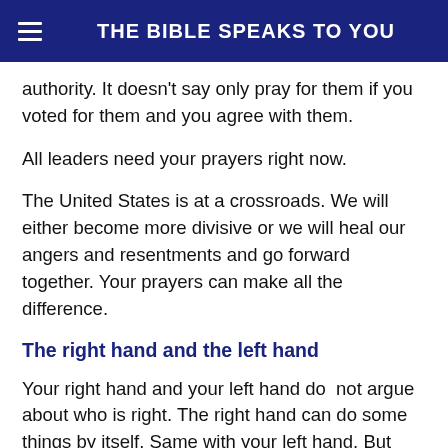THE BIBLE SPEAKS TO YOU
authority. It doesn't say only pray for them if you voted for them and you agree with them.
All leaders need your prayers right now.
The United States is at a crossroads. We will either become more divisive or we will heal our angers and resentments and go forward together. Your prayers can make all the difference.
The right hand and the left hand
Your right hand and your left hand do  not argue about who is right. The right hand can do some things by itself. Same with your left hand. But there